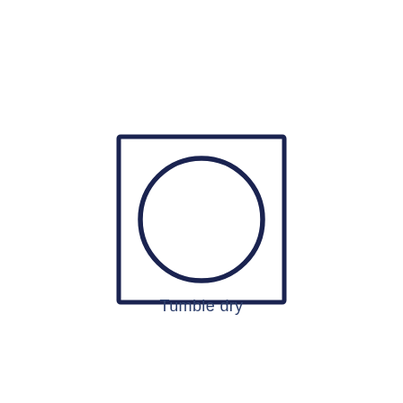[Figure (illustration): Laundry care symbol: a square outline with a circle inside, representing tumble dry instruction. Both shapes drawn in dark navy blue.]
Tumble dry